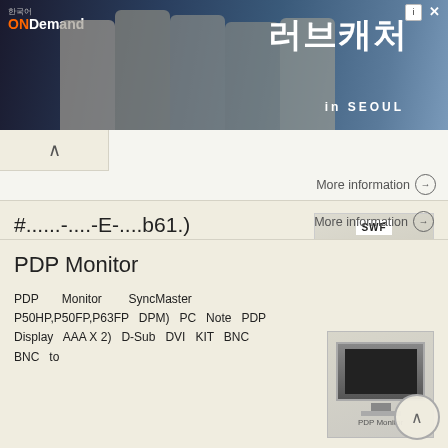[Figure (photo): ONDemand Korea advertisement banner showing Korean drama actors with Korean text and 'in SEOUL' text]
More information →
#......-....-E-....b61.)
1 2 3 4 F3 5 F1 F6 F1 F2 F3 F4 TOOLS F5 F6 DESIGN F1 F1 F6 F3 F6 F1 F2 F3 F4 F4 F1 F1 F2 F1 F1 F2 F3 F1 FDD F2 USB F1 FDD F2 USB F1 SWF F2 T-CODE F2 T-CODE F2 F1 F3 F2 F1 F2 F1 F1 F1
[Figure (photo): SWF product catalog/manual cover image]
More information →
PDP Monitor
PDP Monitor SyncMaster P50HP,P50FP,P63FP DPM) PC Note PDP Display AAA X 2) D-Sub DVI KIT BNC BNC to
[Figure (photo): PDP Monitor product image]